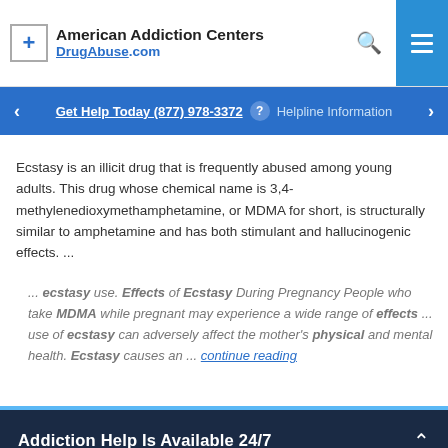American Addiction Centers DrugAbuse.com
Get Help Today (877) 978-3372 ? Helpline Information
Ecstasy is an illicit drug that is frequently abused among young adults. This drug whose chemical name is 3,4-methylenedioxymethamphetamine, or MDMA for short, is structurally similar to amphetamine and has both stimulant and hallucinogenic effects. ...
... ecstasy use. Effects of Ecstasy During Pregnancy People who take MDMA while pregnant may experience a wide range of effects ... use of ecstasy can adversely affect the mother's physical and mental health. Ecstasy causes an ... continue reading
Addiction Help Is Available 24/7